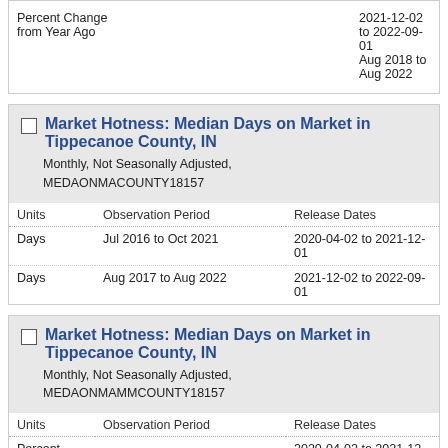| Units | Observation Period | Release Dates |
| --- | --- | --- |
| Percent Change from Year Ago | 2021-12-02 to 2022-09-01
Aug 2018 to Aug 2022 |  |
Market Hotness: Median Days on Market in Tippecanoe County, IN
Monthly, Not Seasonally Adjusted, MEDAONMACOUNTY18157
| Units | Observation Period | Release Dates |
| --- | --- | --- |
| Days | Jul 2016 to Oct 2021 | 2020-04-02 to 2021-12-01 |
| Days | Aug 2017 to Aug 2022 | 2021-12-02 to 2022-09-01 |
Market Hotness: Median Days on Market in Tippecanoe County, IN
Monthly, Not Seasonally Adjusted, MEDAONMAMMCOUNTY18157
| Units | Observation Period | Release Dates |
| --- | --- | --- |
| Percent Change | 2020-04-02 to 2021-12-01
Jul 2017 to Oct 2021 |  |